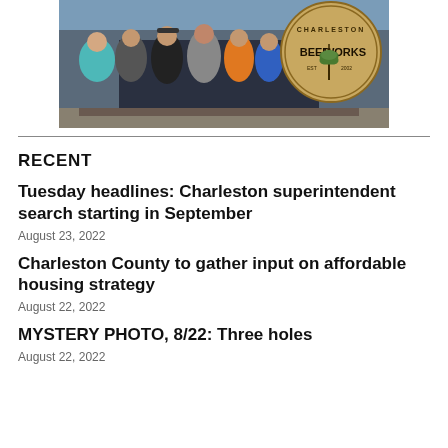[Figure (photo): Group of people standing in front of Charleston Beer Works sign]
RECENT
Tuesday headlines: Charleston superintendent search starting in September
August 23, 2022
Charleston County to gather input on affordable housing strategy
August 22, 2022
MYSTERY PHOTO, 8/22: Three holes
August 22, 2022